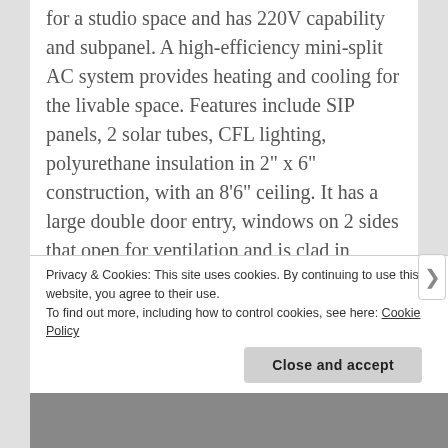for a studio space and has 220V capability and subpanel. A high-efficiency mini-split AC system provides heating and cooling for the livable space. Features include SIP panels, 2 solar tubes, CFL lighting, polyurethane insulation in 2" x 6" construction, with an 8'6" ceiling. It has a large double door entry, windows on 2 sides that open for ventilation and is clad in corrugated rusted steel with a custom layout.
This home is truly designed for indoor/outdoor living. The cantilevered rear deck is built from moisture-shield decking, which should last a
Privacy & Cookies: This site uses cookies. By continuing to use this website, you agree to their use.
To find out more, including how to control cookies, see here: Cookie Policy
Close and accept